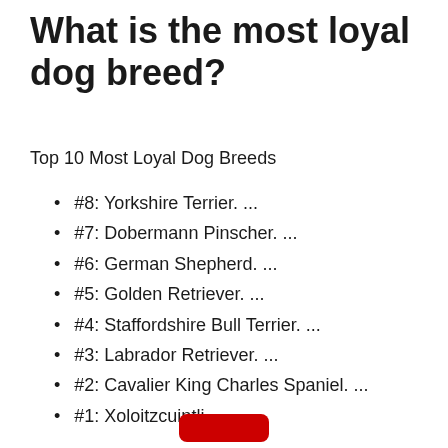What is the most loyal dog breed?
Top 10 Most Loyal Dog Breeds
#8: Yorkshire Terrier. ...
#7: Dobermann Pinscher. ...
#6: German Shepherd. ...
#5: Golden Retriever. ...
#4: Staffordshire Bull Terrier. ...
#3: Labrador Retriever. ...
#2: Cavalier King Charles Spaniel. ...
#1: Xoloitzcuintli.
[Figure (logo): Red YouTube button at the bottom center]